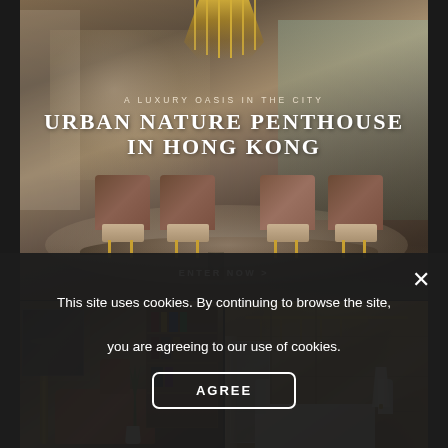[Figure (photo): Luxury dining room interior with crystal chandelier, round dining table with velvet chairs in beige and walnut, floor-to-ceiling windows with mountain view. Text overlay reads 'A LUXURY OASIS IN THE CITY / URBAN NATURE PENTHOUSE IN HONG KONG' and 'ENTER NOW >']
[Figure (photo): Luxury living space with orange/terracotta chaise lounge, gold floor lamp, decorative bookshelf with books and plants]
[Figure (photo): Luxury bedroom or lounge area with golden chandelier, warm wall panels, white sofa, ambient lighting]
This site uses cookies. By continuing to browse the site, you are agreeing to our use of cookies.
AGREE